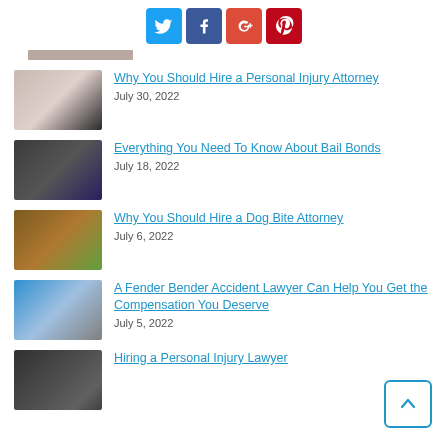[Figure (other): Social media sharing icons: Twitter (blue), Facebook (dark blue), Google+ (red), Pinterest (red)]
Why You Should Hire a Personal Injury Attorney
July 30, 2022
Everything You Need To Know About Bail Bonds
July 18, 2022
Why You Should Hire a Dog Bite Attorney
July 6, 2022
A Fender Bender Accident Lawyer Can Help You Get the Compensation You Deserve
July 5, 2022
Hiring a Personal Injury Lawyer